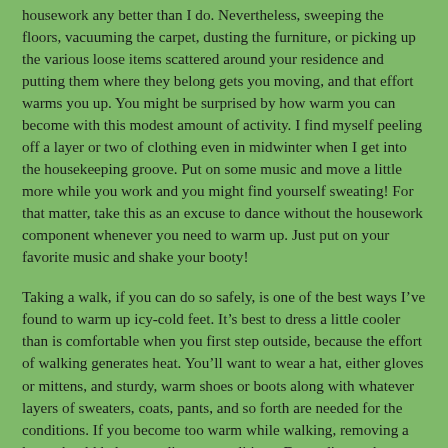housework any better than I do. Nevertheless, sweeping the floors, vacuuming the carpet, dusting the furniture, or picking up the various loose items scattered around your residence and putting them where they belong gets you moving, and that effort warms you up. You might be surprised by how warm you can become with this modest amount of activity. I find myself peeling off a layer or two of clothing even in midwinter when I get into the housekeeping groove. Put on some music and move a little more while you work and you might find yourself sweating! For that matter, take this as an excuse to dance without the housework component whenever you need to warm up. Just put on your favorite music and shake your booty!
Taking a walk, if you can do so safely, is one of the best ways I've found to warm up icy-cold feet. It's best to dress a little cooler than is comfortable when you first step outside, because the effort of walking generates heat. You'll want to wear a hat, either gloves or mittens, and sturdy, warm shoes or boots along with whatever layers of sweaters, coats, pants, and so forth are needed for the conditions. If you become too warm while walking, removing a layer should help you adjust to conditions. Depending on how cold your feet are, it may take only a few minutes to warm them up